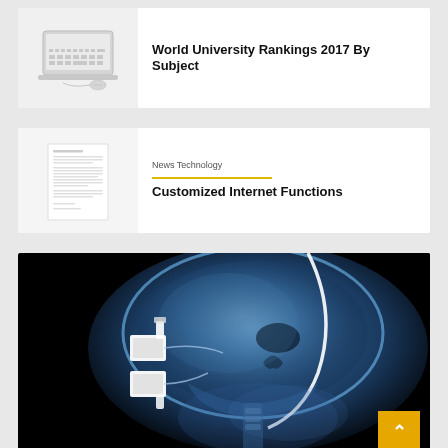[Figure (illustration): White card with keyboard/laptop image on left, and bold title text on right showing 'World University Rankings 2017 By Subject']
World University Rankings 2017 By Subject
[Figure (illustration): White card with document/letter image on left, category label 'News Technology' and bold title 'Customized Internet Functions' on right]
News Technology
Customized Internet Functions
[Figure (photo): X-ray image of a human skull (side profile) in blue tones showing medical implants/devices. Has a yellow scroll-up button in the bottom right.]